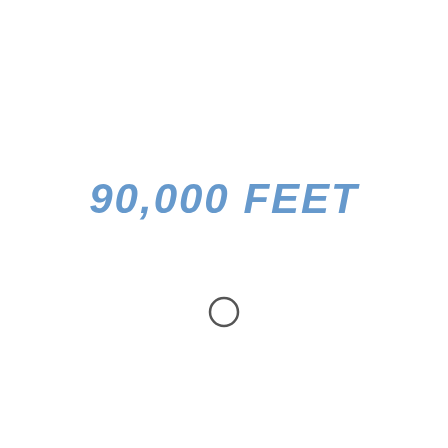90,000 FEET
[Figure (other): A small circle/ring shape, outlined in dark gray, centered below the title text]